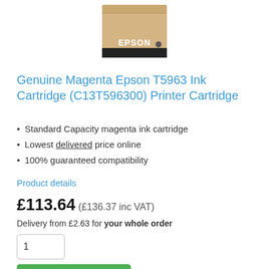[Figure (photo): Epson ink cartridge box in beige/tan color with EPSON branding on front]
Genuine Magenta Epson T5963 Ink Cartridge (C13T596300) Printer Cartridge
Standard Capacity magenta ink cartridge
Lowest delivered price online
100% guaranteed compatibility
Product details
£113.64 (£136.37 inc VAT)
Delivery from £2.63 for your whole order
1
Add to Cart
✔ In Stock
Matte Black ink cartridges for the Stylus Pro 9900 print...